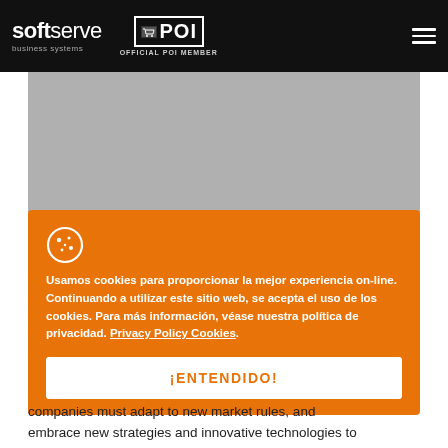softserve business systems | POI OFFICIAL POI MEMBER
[Figure (photo): Grey placeholder image area below the header navigation]
Usamos cookies para proporcionar la mejor experiencia on-line. Continuando a utilizar este sitio web, se acepta el uso de los cookies. Para más información, véase nuestra política de privacidad. Privacy Policy Cookies.
¡ENTENDIDO!
companies must adapt to new market rules, and embrace new strategies and innovative technologies to